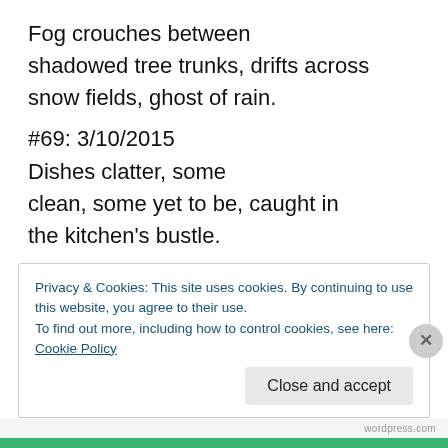Fog crouches between shadowed tree trunks, drifts across snow fields, ghost of rain.
#69: 3/10/2015
Dishes clatter, some clean, some yet to be, caught in the kitchen's bustle.
#70: 3/10/2015
Catching up on work:
Privacy & Cookies: This site uses cookies. By continuing to use this website, you agree to their use.
To find out more, including how to control cookies, see here: Cookie Policy